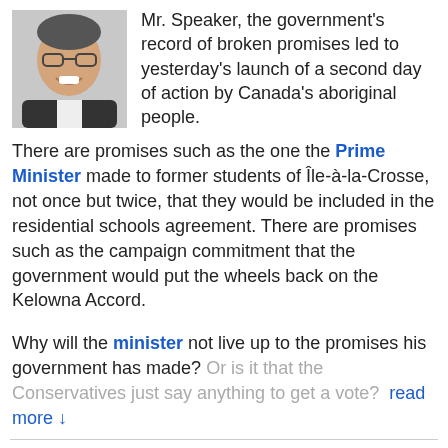[Figure (photo): Headshot photo of a man wearing glasses and a dark suit, smiling]
Mr. Speaker, the government's record of broken promises led to yesterday's launch of a second day of action by Canada's aboriginal people.
There are promises such as the one the Prime Minister made to former students of Île-à-la-Crosse, not once but twice, that they would be included in the residential schools agreement. There are promises such as the campaign commitment that the government would put the wheels back on the Kelowna Accord.
Why will the minister not live up to the promises his government has made? Or is it that the Conservatives just say anything to get a vote?  read more ↓
LINKS & SHARING    AS SPOKEN
Aboriginal Affairs / Oral Questions
11:45 a.m.
Winnipeg South / Manitoba
[Figure (photo): Headshot photo of Rod Bruinooge, a man in a suit]
Rod Bruinooge
Conservative  Parliamentary Secretary to the